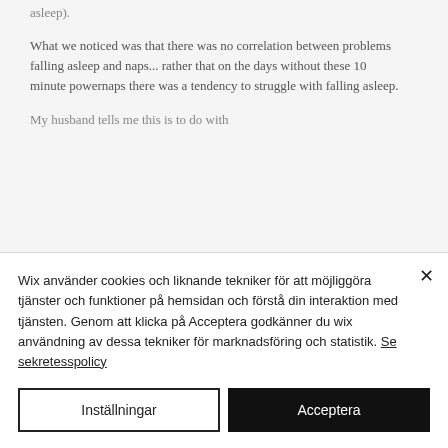asleep).
What we noticed was that there was no correlation between problems falling asleep and naps... rather that on the days without these 10 minute powernaps there was a tendency to struggle with falling asleep.
My husband tells me this is to do with
Wix använder cookies och liknande tekniker för att möjliggöra tjänster och funktioner på hemsidan och förstå din interaktion med tjänsten. Genom att klicka på Acceptera godkänner du wix användning av dessa tekniker för marknadsföring och statistik. Se sekretesspolicy
Inställningar
Acceptera